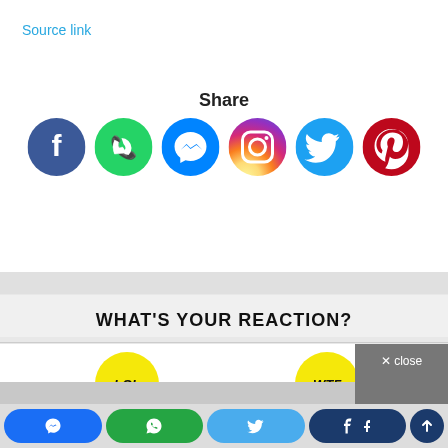Source link
Share
[Figure (infographic): Six social media share icons in circles: Facebook (blue), WhatsApp (green), Messenger (blue), Instagram (gradient), Twitter (light blue), Pinterest (red)]
WHAT'S YOUR REACTION?
[Figure (infographic): Reaction buttons: LOL (yellow circle) and WTF (yellow circle) partially visible, with a grey close button in top right]
[Figure (infographic): Bottom share bar with Messenger, WhatsApp, Twitter, and Facebook buttons plus an up arrow]